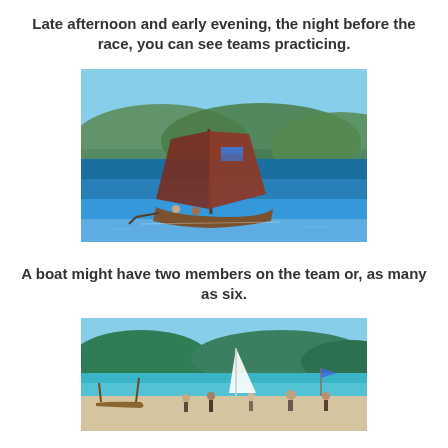Late afternoon and early evening, the night before the race, you can see teams practicing.
[Figure (photo): A traditional wooden sailboat with a large reddish-brown sail on blue ocean water, with green hills in the background.]
A boat might have two members on the team or, as many as six.
[Figure (photo): A beach scene with people standing near traditional outrigger boats on shore, green hills and blue water in background.]